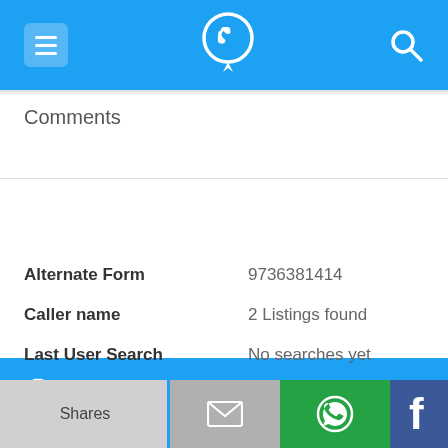Navigation bar with menu, phone lookup icon, and search
Comments
973-638-1414
| Field | Value |
| --- | --- |
| Alternate Form | 9736381414 |
| Caller name | 2 Listings found |
| Last User Search | No searches yet |
Comments
Shares | Email | WhatsApp | Facebook